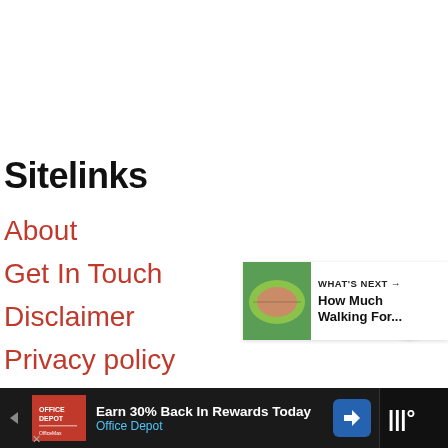Sitelinks
About
Get In Touch
Disclaimer
Privacy policy
BMI Calculator
Gifts
[Figure (other): Share button icon — circular white button with share/add icon]
[Figure (other): What's Next card — thumbnail of green plant/watermelon with text 'WHAT'S NEXT → How Much Walking For...']
[Figure (other): Ad banner — Office Depot ad: 'Earn 30% Back In Rewards Today' with Office Depot logo and navigation icon]